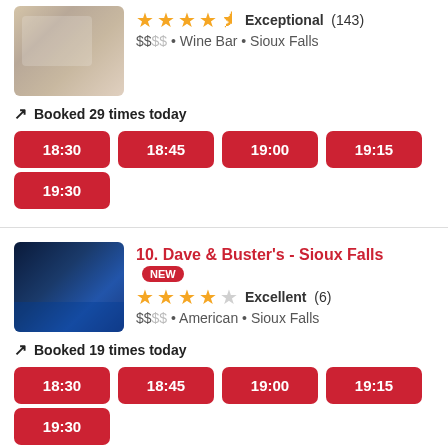[Figure (photo): Restaurant dining photo with white plates]
Exceptional (143)
$$$$ • Wine Bar • Sioux Falls
Booked 29 times today
18:30 | 18:45 | 19:00 | 19:15 | 19:30
[Figure (photo): Dave & Buster's interior with blue lighting]
10. Dave & Buster's - Sioux Falls NEW
Excellent (6)
$$$$ • American • Sioux Falls
Booked 19 times today
18:30 | 18:45 | 19:00 | 19:15 | 19:30